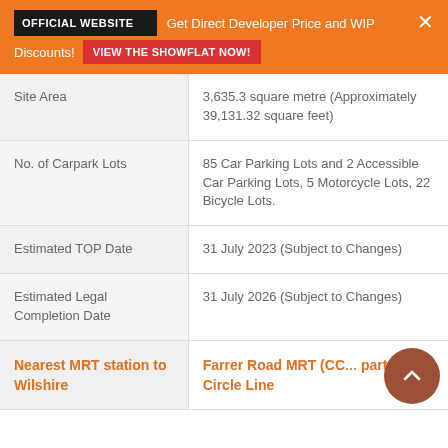OFFICIAL WEBSITE ▶ Get Direct Developer Price and WIP Discounts! VIEW THE SHOWFLAT NOW!
| Field | Value |
| --- | --- |
| Site Area | 3,635.3 square metre (Approximately 39,131.32 square feet) |
| No. of Carpark Lots | 85 Car Parking Lots and 2 Accessible Car Parking Lots, 5 Motorcycle Lots, 22 Bicycle Lots. |
| Estimated TOP Date | 31 July 2023 (Subject to Changes) |
| Estimated Legal Completion Date | 31 July 2026 (Subject to Changes) |
| Nearest MRT station to Wilshire ... | Farrer Road MRT (CC... part of Circle Line |